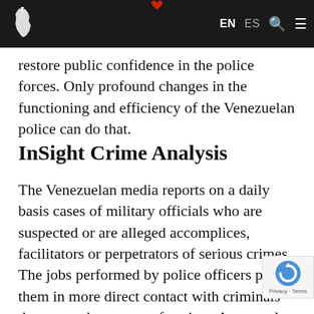EN ES [search] [menu] — InSight Crime navigation bar
restore public confidence in the police forces. Only profound changes in the functioning and efficiency of the Venezuelan police can do that.
InSight Crime Analysis
The Venezuelan media reports on a daily basis cases of military officials who are suspected or are alleged accomplices, facilitators or perpetrators of serious crimes. The jobs performed by police officers puts them in more direct contact with criminals than any other sector of society. As a result, they constantly exposed to temptation or are targeted by attempts to corrupt them.